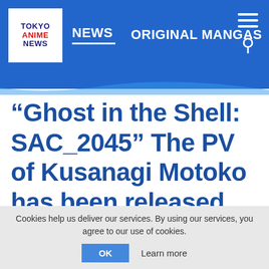TOKYO ANIME NEWS | NEWS | ORIGINAL MANGAS
“Ghost in the Shell: SAC_2045” The PV of Kusanagi Motoko has been released with the broadcast of the
Cookies help us deliver our services. By using our services, you agree to our use of cookies.
OK   Learn more